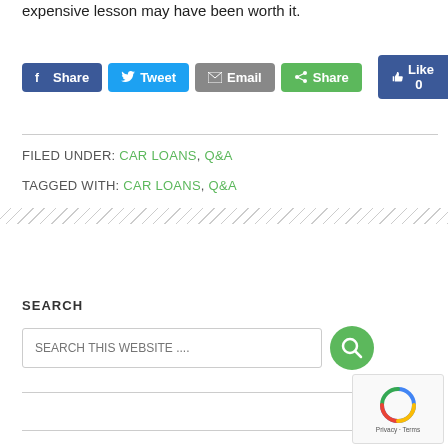expensive lesson may have been worth it.
[Figure (other): Social share buttons: Facebook Share, Twitter Tweet, Email, ShareThis Share, Facebook Like 0]
FILED UNDER: CAR LOANS, Q&A
TAGGED WITH: CAR LOANS, Q&A
SEARCH
[Figure (other): Search input box with placeholder 'SEARCH THIS WEBSITE ....' and green search button]
[Figure (other): reCAPTCHA widget - Privacy · Terms]